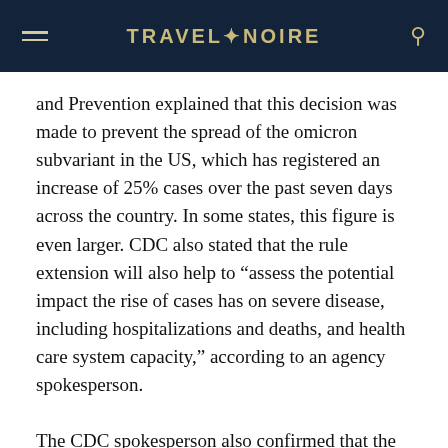TRAVEL✦NOIRE
and Prevention explained that this decision was made to prevent the spread of the omicron subvariant in the US, which has registered an increase of 25% cases over the past seven days across the country. In some states, this figure is even larger. CDC also stated that the rule extension will also help to “assess the potential impact the rise of cases has on severe disease, including hospitalizations and deaths, and health care system capacity,” according to an agency spokesperson.
The CDC spokesperson also confirmed that the Transportation Security Administration, which handles enforcement of the order, is also extending its own directives and more.